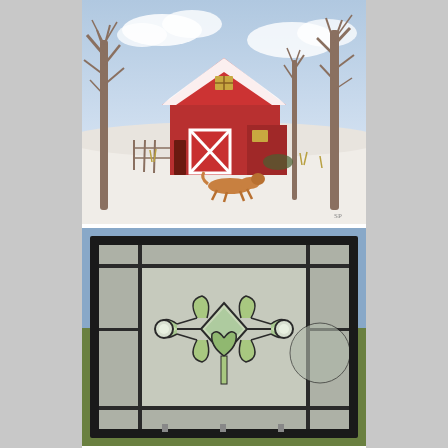[Figure (illustration): A painting of a red barn with snow on the roof, bare winter trees on both sides, a golden/brown dog running in the snow in the foreground, and a fence to the left. Blue cloudy sky above.]
[Figure (photo): A rectangular stained glass window panel with a dark lead frame, featuring a decorative floral/leaf pattern in the center with green and clear beveled glass elements, surrounded by textured clear glass on a background showing a green field outside.]